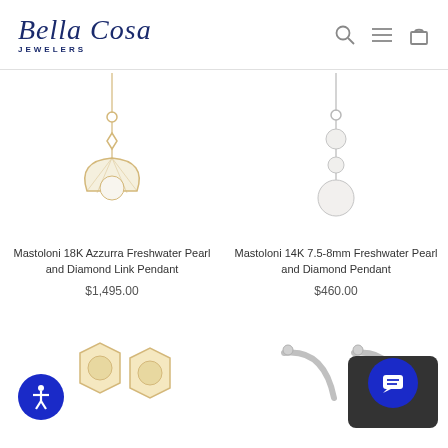Bella Cosa Jewelers
[Figure (photo): Yellow gold pendant with freshwater pearl in diamond-shaped frame on a chain, Mastoloni 18K Azzurra]
Mastoloni 18K Azzurra Freshwater Pearl and Diamond Link Pendant
$1,495.00
[Figure (photo): White gold pendant with three stacked pearls on a chain, Mastoloni 14K 7.5-8mm]
Mastoloni 14K 7.5-8mm Freshwater Pearl and Diamond Pendant
$460.00
[Figure (photo): Gold hexagonal earrings with pearls and diamonds, partially visible at bottom left]
[Figure (photo): White gold hoop earrings with diamonds, partially visible at bottom right]